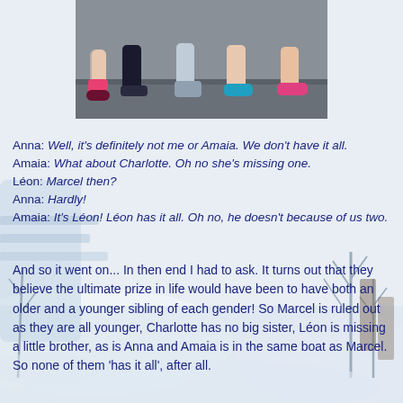[Figure (photo): Top portion of a family photo showing children seated on steps, with legs and feet visible, wearing colorful socks and shoes.]
[Figure (photo): Background winter/snow scene photo covering most of the page.]
Anna: Well, it's definitely not me or Amaia. We don't have it all.
Amaia: What about Charlotte. Oh no she's missing one.
Léon: Marcel then?
Anna: Hardly!
Amaia: It's Léon! Léon has it all. Oh no, he doesn't because of us two.
And so it went on... In then end I had to ask. It turns out that they believe the ultimate prize in life would have been to have both an older and a younger sibling of each gender! So Marcel is ruled out as they are all younger, Charlotte has no big sister, Léon is missing a little brother, as is Anna and Amaia is in the same boat as Marcel. So none of them 'has it all', after all.